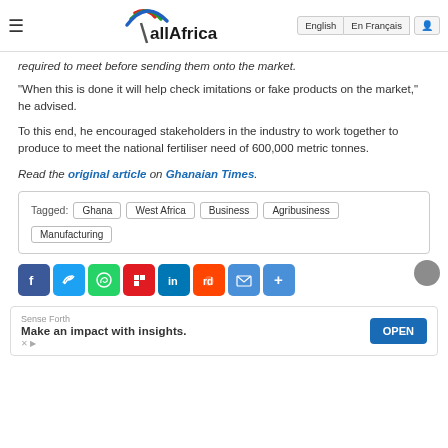allAfrica — English | En Français
required to meet before sending them onto the market.
"When this is done it will help check imitations or fake products on the market," he advised.
To this end, he encouraged stakeholders in the industry to work together to produce to meet the national fertiliser need of 600,000 metric tonnes.
Read the original article on Ghanaian Times.
Tagged: Ghana | West Africa | Business | Agribusiness | Manufacturing
[Figure (infographic): Social sharing buttons row: Facebook, Twitter, WhatsApp, Flipboard, LinkedIn, Reddit, Email, Share]
Sense Forth — Make an impact with insights. OPEN (advertisement)